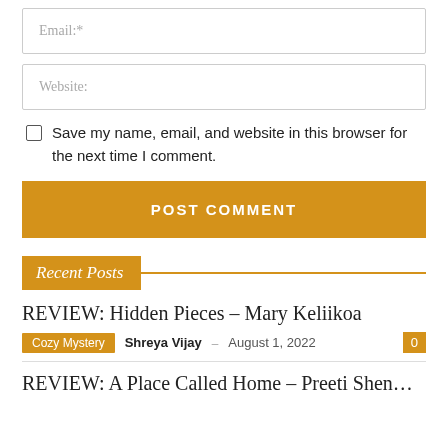Email:*
Website:
Save my name, email, and website in this browser for the next time I comment.
POST COMMENT
Recent Posts
REVIEW: Hidden Pieces – Mary Keliikoa
Cozy Mystery  Shreya Vijay – August 1, 2022  0
REVIEW: A Place Called Home – Preeti Shenoy